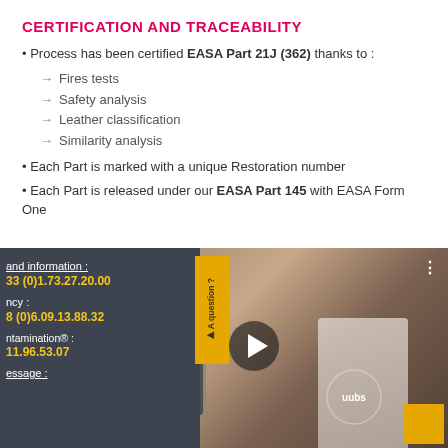CERTIFICATION AND TRACEABILITY
Process has been certified EASA Part 21J (362) thanks to :
→ Fires tests
→ Safety analysis
→ Leather classification
→ Similarity analysis
Each Part is marked with a unique Restoration number
Each Part is released under our EASA Part 145 with EASA Form One
[Figure (screenshot): Video thumbnail showing leather inspection with tablet, overlaid with contact info panel (phone numbers, emergency contact, message link) and a yellow 'A question?' tab. Text visible: 'n des cuirs', '+33 (0)1.73.27.20.00', '+33 (0)6.09.13.88.32', 'ntamination® :', '11.96.53.07', 'essage :', 'and information :', 'ncy :']